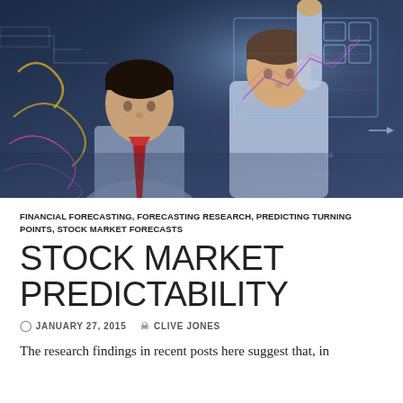[Figure (photo): Two businessmen in shirts and ties examining and pointing at a glowing transparent screen with financial diagrams and charts in a dark blue background]
FINANCIAL FORECASTING, FORECASTING RESEARCH, PREDICTING TURNING POINTS, STOCK MARKET FORECASTS
STOCK MARKET PREDICTABILITY
JANUARY 27, 2015   CLIVE JONES
The research findings in recent posts here suggest that, in